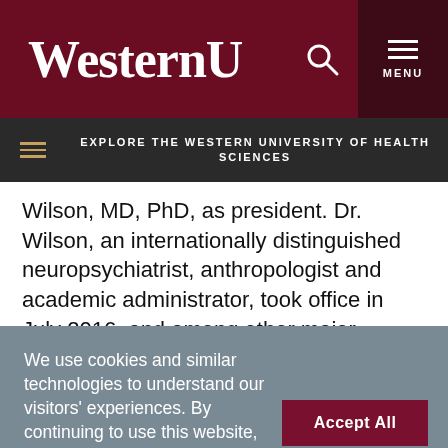WesternU
EXPLORE THE WESTERN UNIVERSITY OF HEALTH SCIENCES
Wilson, MD, PhD, as president. Dr. Wilson, an internationally distinguished neuropsychiatrist, anthropologist and academic administrator, took office in July 2016, and among other major
We use cookies and similar technologies to understand our visitors' experiences. By continuing to use this website, you agree to this condition of use. For further information please see our Privacy Policy.